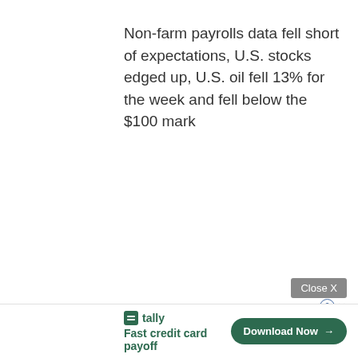Non-farm payrolls data fell short of expectations, U.S. stocks edged up, U.S. oil fell 13% for the week and fell below the $100 mark
[Figure (other): Advertisement banner: Tally app ad with 'Fast credit card payoff' tagline and 'Download Now' button, with Close X button above]